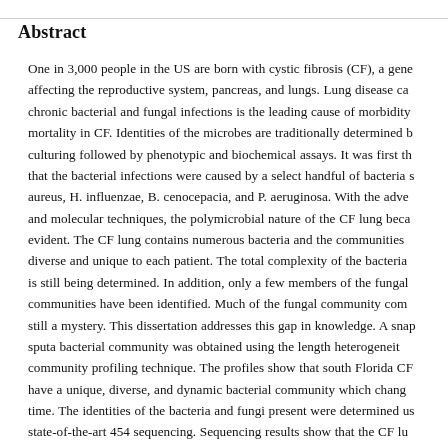Abstract
One in 3,000 people in the US are born with cystic fibrosis (CF), a gene affecting the reproductive system, pancreas, and lungs. Lung disease ca chronic bacterial and fungal infections is the leading cause of morbidity mortality in CF. Identities of the microbes are traditionally determined b culturing followed by phenotypic and biochemical assays. It was first th that the bacterial infections were caused by a select handful of bacteria s aureus, H. influenzae, B. cenocepacia, and P. aeruginosa. With the adve and molecular techniques, the polymicrobial nature of the CF lung beca evident. The CF lung contains numerous bacteria and the communities diverse and unique to each patient. The total complexity of the bacteria is still being determined. In addition, only a few members of the fungal communities have been identified. Much of the fungal community com still a mystery. This dissertation addresses this gap in knowledge. A snap sputa bacterial community was obtained using the length heterogeneit community profiling technique. The profiles show that south Florida CF have a unique, diverse, and dynamic bacterial community which chang time. The identities of the bacteria and fungi present were determined us state-of-the-art 454 sequencing. Sequencing results show that the CF lu microbiome contains commonly cultured pathogenic bacteria, organis